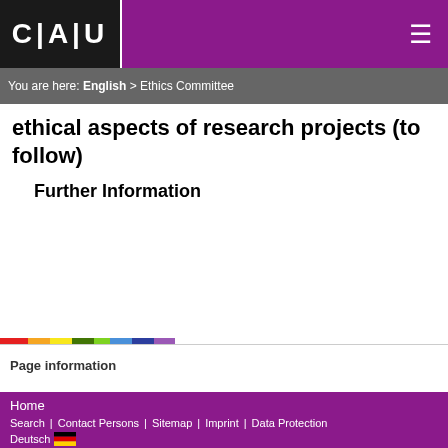C | A | U
You are here: English > Ethics Committee
ethical aspects of research projects (to follow)
Further Information
[Figure (infographic): Multi-color horizontal bar (rainbow stripe) at the bottom of the content area]
Page information
Home
Search | Contact Persons | Sitemap | Imprint | Data Protection
Deutsch 🇩🇪